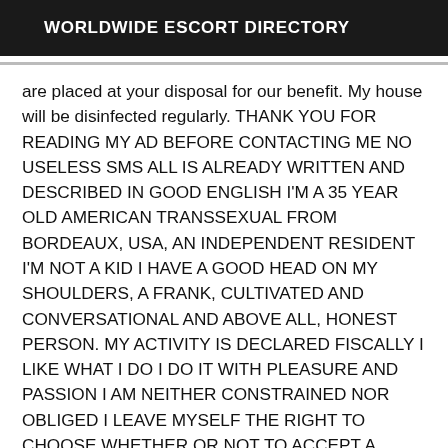WORLDWIDE ESCORT DIRECTORY
are placed at your disposal for our benefit. My house will be disinfected regularly. THANK YOU FOR READING MY AD BEFORE CONTACTING ME NO USELESS SMS ALL IS ALREADY WRITTEN AND DESCRIBED IN GOOD ENGLISH I'M A 35 YEAR OLD AMERICAN TRANSSEXUAL FROM BORDEAUX, USA, AN INDEPENDENT RESIDENT I'M NOT A KID I HAVE A GOOD HEAD ON MY SHOULDERS, A FRANK, CULTIVATED AND CONVERSATIONAL AND ABOVE ALL, HONEST PERSON. MY ACTIVITY IS DECLARED FISCALLY I LIKE WHAT I DO I DO IT WITH PLEASURE AND PASSION I AM NEITHER CONSTRAINED NOR OBLIGED I LEAVE MYSELF THE RIGHT TO CHOOSE WHETHER OR NOT TO ACCEPT A MEETING I DO NOT DISCRIMINATE IN ANY WAY I'M THE ONE WHO WILL OPEN THE DOOR IF YOU ARRIVE AND IF I'M NOT LIKE IN MY PHOTOS YOU CAN LEAVE WITHOUT FEAR OF BEING MISSED. PRIVILEGE